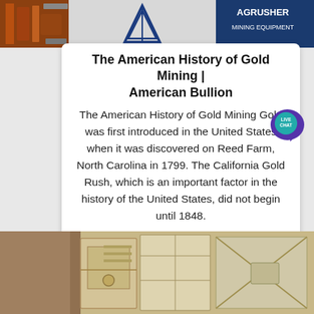[Figure (photo): Top banner image showing mining equipment including Agrusher Mining Equipment logo and industrial machinery]
The American History of Gold Mining | American Bullion
The American History of Gold Mining Gold was first introduced in the United States when it was discovered on Reed Farm, North Carolina in 1799. The California Gold Rush, which is an important factor in the history of the United States, did not begin until 1848.
[Figure (illustration): Live Chat bubble icon in teal/purple with speech bubble and LIVE CHAT text]
[Figure (illustration): Rocket ship icon in gray]
[Figure (photo): Button labeled view more with blue rounded rectangle background]
[Figure (photo): Bottom image showing industrial mining equipment interior, beige/tan tones]